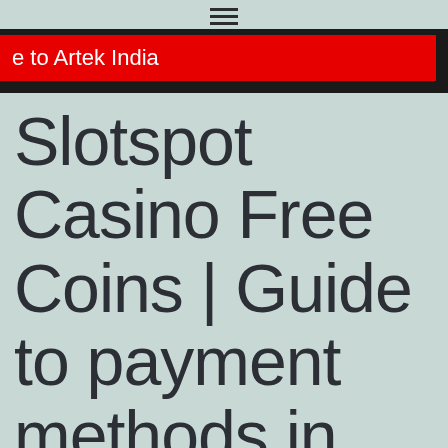≡
e to Artek India
Slotspot Casino Free Coins | Guide to payment methods in